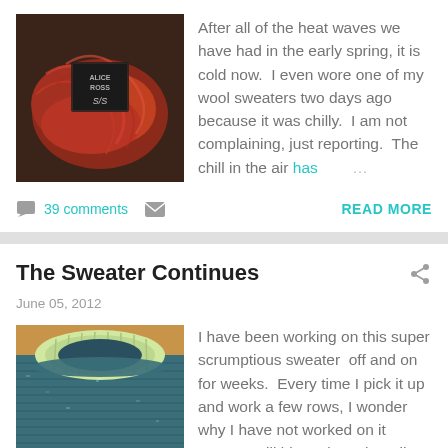[Figure (photo): Photo of red/orange yarn skeins with a label tag, on a dark background]
After all of the heat waves we have had in the early spring, it is cold now.  I even wore one of my wool sweaters two days ago because it was chilly.  I am not complaining, just reporting.  The chill in the air has ...
39 comments
READ MORE
The Sweater Continues
June 05, 2012
[Figure (photo): Photo of a blue/teal knitted sweater in progress on a wooden surface]
I have been working on this super scrumptious sweater  off and on for weeks.  Every time I pick it up and work a few rows, I wonder why I have not worked on it more.  I will blame it on the miles and miles of...